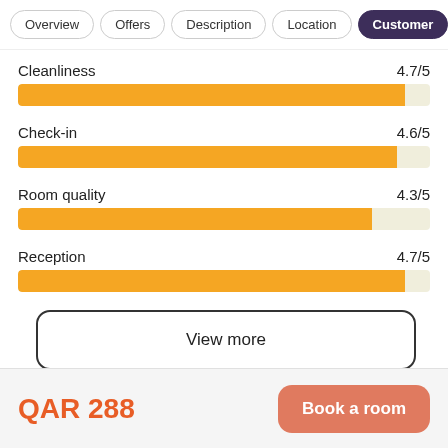Overview | Offers | Description | Location | Customer
[Figure (bar-chart): Customer ratings]
View more
QAR 288
Book a room